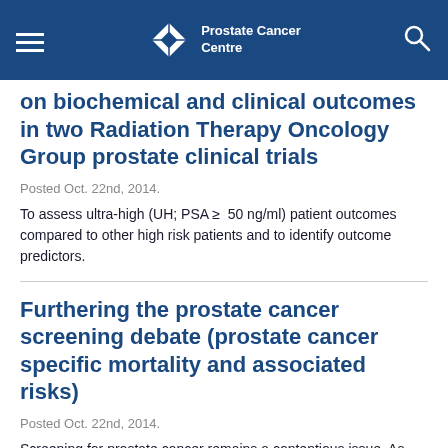Prostate Cancer Centre
on biochemical and clinical outcomes in two Radiation Therapy Oncology Group prostate clinical trials
Posted Oct. 22nd, 2014.
To assess ultra-high (UH; PSA ≥ 50 ng/ml) patient outcomes compared to other high risk patients and to identify outcome predictors.
Furthering the prostate cancer screening debate (prostate cancer specific mortality and associated risks)
Posted Oct. 22nd, 2014.
Screening for prostate cancer remains a contentious issue. As